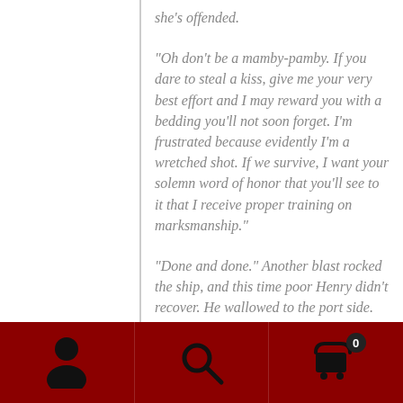she’s offended.
“Oh don’t be a mamby-pamby.  If you dare to steal a kiss, give me your very best effort and I may reward you with a bedding you’ll not soon forget.  I’m frustrated because evidently I’m a wretched shot.  If we survive, I want your solemn word of honor that you’ll see to it that I receive proper training on marksmanship.”
“Done and done.”  Another blast rocked the ship, and this time poor Henry didn’t recover.  He wallowed to the port side.  Cursing beneath his breath, Sig hauled on
[Figure (infographic): Dark red navigation bar at the bottom with three icons: person/account icon on left, search magnifying glass in center, and shopping cart icon with badge showing 0 on right.]